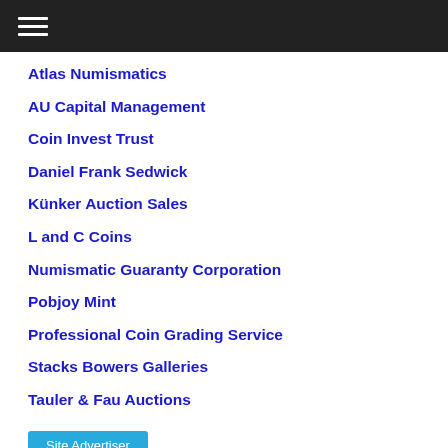☰
Atlas Numismatics
AU Capital Management
Coin Invest Trust
Daniel Frank Sedwick
Künker Auction Sales
L and C Coins
Numismatic Guaranty Corporation
Pobjoy Mint
Professional Coin Grading Service
Stacks Bowers Galleries
Tauler & Fau Auctions
Site Advertiser